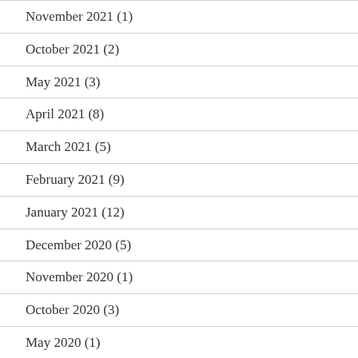November 2021 (1)
October 2021 (2)
May 2021 (3)
April 2021 (8)
March 2021 (5)
February 2021 (9)
January 2021 (12)
December 2020 (5)
November 2020 (1)
October 2020 (3)
May 2020 (1)